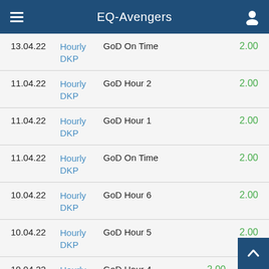EQ-Avengers
| Date | Type | Description | Value |
| --- | --- | --- | --- |
| 13.04.22 | Hourly DKP | GoD On Time | 2.00 |
| 11.04.22 | Hourly DKP | GoD Hour 2 | 2.00 |
| 11.04.22 | Hourly DKP | GoD Hour 1 | 2.00 |
| 11.04.22 | Hourly DKP | GoD On Time | 2.00 |
| 10.04.22 | Hourly DKP | GoD Hour 6 | 2.00 |
| 10.04.22 | Hourly DKP | GoD Hour 5 | 2.00 |
| 10.04.22 | Hourly DKP | GoD Hour 4 | 2.00 |